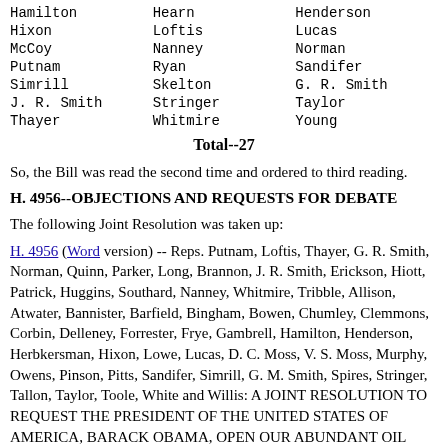Hamilton  Hearn  Henderson
Hixon  Loftis  Lucas
McCoy  Nanney  Norman
Putnam  Ryan  Sandifer
Simrill  Skelton  G. R. Smith
J. R. Smith  Stringer  Taylor
Thayer  Whitmire  Young
Total--27
So, the Bill was read the second time and ordered to third reading.
H. 4956--OBJECTIONS AND REQUESTS FOR DEBATE
The following Joint Resolution was taken up:
H. 4956 (Word version) -- Reps. Putnam, Loftis, Thayer, G. R. Smith, Norman, Quinn, Parker, Long, Brannon, J. R. Smith, Erickson, Hiott, Patrick, Huggins, Southard, Nanney, Whitmire, Tribble, Allison, Atwater, Bannister, Barfield, Bingham, Bowen, Chumley, Clemmons, Corbin, Delleney, Forrester, Frye, Gambrell, Hamilton, Henderson, Herbkersman, Hixon, Lowe, Lucas, D. C. Moss, V. S. Moss, Murphy, Owens, Pinson, Pitts, Sandifer, Simrill, G. M. Smith, Spires, Stringer, Tallon, Taylor, Toole, White and Willis: A JOINT RESOLUTION TO REQUEST THE PRESIDENT OF THE UNITED STATES OF AMERICA, BARACK OBAMA, OPEN OUR ABUNDANT OIL AND